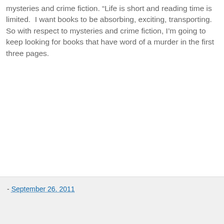mysteries and crime fiction. "Life is short and reading time is limited. I want books to be absorbing, exciting, transporting. So with respect to mysteries and crime fiction, I'm going to keep looking for books that have word of a murder in the first three pages.
[Figure (other): Amazon product widget for 'The Cut (Spero Lucas Series, 1)' by George Pelecanos, priced at $28.29 with Prime, with a Shop now button]
- September 26, 2011